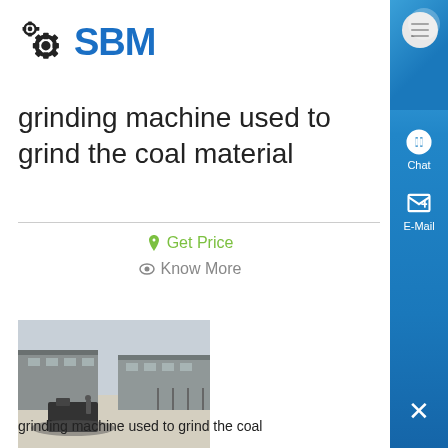[Figure (logo): SBM logo with gear icon in black and blue text]
grinding machine used to grind the coal material
Get Price
Know More
[Figure (photo): Outdoor industrial facility with a grinding machine on a concrete surface, large warehouse buildings in background]
grinding machine used to grind the coal